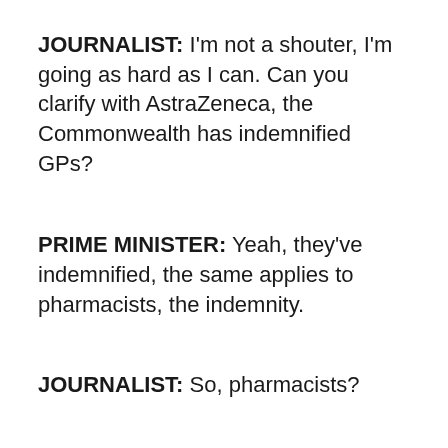JOURNALIST: I'm not a shouter, I'm going as hard as I can. Can you clarify with AstraZeneca, the Commonwealth has indemnified GPs?
PRIME MINISTER: Yeah, they've indemnified, the same applies to pharmacists, the indemnity.
JOURNALIST: So, pharmacists?
PRIME MINISTER: Yes.